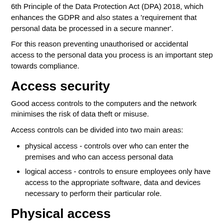6th Principle of the Data Protection Act (DPA) 2018, which enhances the GDPR and also states a 'requirement that personal data be processed in a secure manner'.
For this reason preventing unauthorised or accidental access to the personal data you process is an important step towards compliance.
Access security
Good access controls to the computers and the network minimises the risk of data theft or misuse.
Access controls can be divided into two main areas:
physical access - controls over who can enter the premises and who can access personal data
logical access - controls to ensure employees only have access to the appropriate software, data and devices necessary to perform their particular role.
Physical access
As well as having physical access controls such as locks,